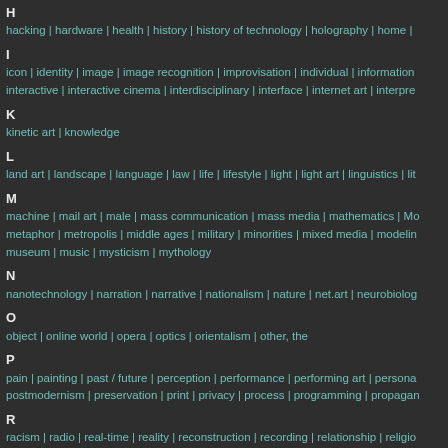H
hacking | hardware | health | history | history of technology | holography | home |
I
icon | identity | image | image recognition | improvisation | individual | information | interactive | interactive cinema | interdisciplinary | interface | internet art | interpre
K
kinetic art | knowledge
L
land art | landscape | language | law | life | lifestyle | light | light art | linguistics | lit
M
machine | mail art | male | mass communication | mass media | mathematics | Mo | metaphor | metropolis | middle ages | military | minorities | mixed media | modelin | museum | music | mysticism | mythology
N
nanotechnology | narration | narrative | nationalism | nature | net.art | neurobiolog
O
object | online world | opera | optics | orientalism | other, the
P
pain | painting | past / future | perception | performance | performing art | persona | postmodernism | preservation | print | privacy | process | programming | propagan
R
racism | radio | real-time | reality | reconstruction | recording | relationship | religio | robotics | rotation | rural